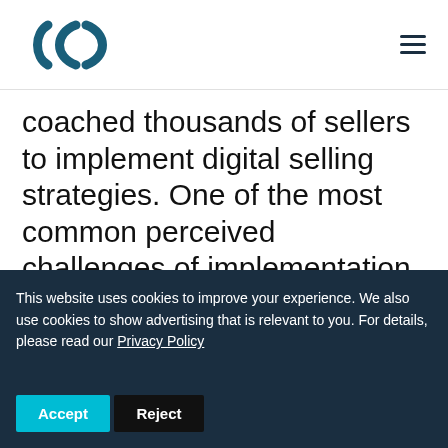[Logo] [Hamburger menu]
coached thousands of sellers to implement digital selling strategies. One of the most common perceived challenges of implementation that we encounter is time. For many sellers who find themselves overscheduled, social media is typically the first thing to be put on the back burner, but it
This website uses cookies to improve your experience. We also use cookies to show advertising that is relevant to you. For details, please read our Privacy Policy
Accept  Reject